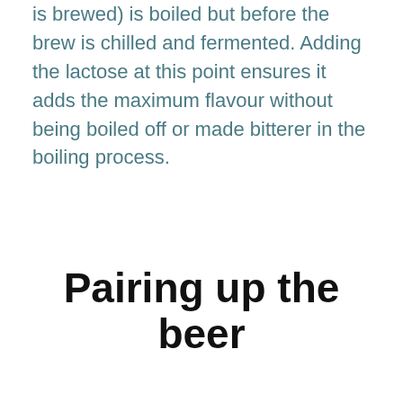is brewed) is boiled but before the brew is chilled and fermented. Adding the lactose at this point ensures it adds the maximum flavour without being boiled off or made bitterer in the boiling process.
Pairing up the beer
Like all IPAs, milkshake IPAs should be served chilled, somewhere between seven and ten degrees centigrade – cooler than a Belgian or English ale, but some way warmer than a lager. This temperature ensures none of the flavours are muted by the cold as well as making